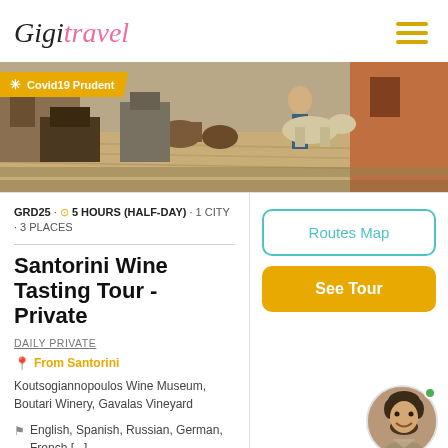GigiTravel
[Figure (photo): Winery/vineyard scene with workers, barrels, and grapevines. Covid19 Prudent badge overlaid in gold.]
GRD25 · 5 HOURS (HALF-DAY) · 1 CITY · 3 PLACES
Santorini Wine Tasting Tour - Private
DAILY PRIVATE
From Santorini
Koutsogiannopoulos Wine Museum, Boutari Winery, Gavalas Vineyard
English, Spanish, Russian, German, French [...]
Routes Map
See Tour
[Figure (photo): Portrait of a smiling young man with beard, shown as a circular avatar with green online indicator dot.]